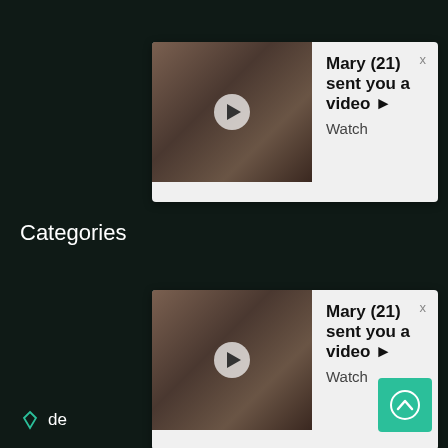[Figure (screenshot): Notification popup 1: Mary (21) sent you a video, with thumbnail and Watch link]
Categories
[Figure (screenshot): Notification popup 2: Mary (21) sent you a video, with thumbnail and Watch link]
desi
mms (4086)
village (3366)
video (10353)
mumbai (2164)
desi sex (25378)